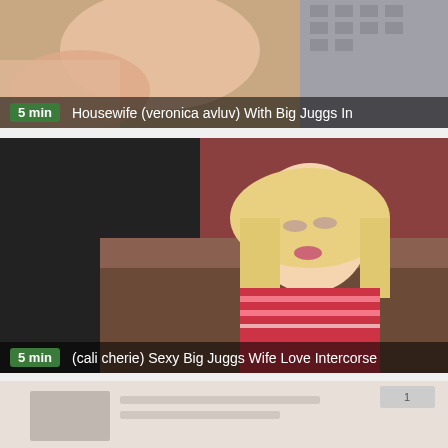[Figure (photo): Video thumbnail - adult content, first video card showing '5 min' and title 'Housewife (veronica avluv) With Big Juggs In']
5 min   Housewife (veronica avluv) With Big Juggs In
[Figure (photo): Video thumbnail - adult content, second video card showing blonde woman on couch, '5 min' and title '(cali cherie) Sexy Big Juggs Wife Love Intercorse']
5 min   (cali cherie) Sexy Big Juggs Wife Love Intercorse
[Figure (photo): Video thumbnail - adult content, third partially visible video card at bottom of page]